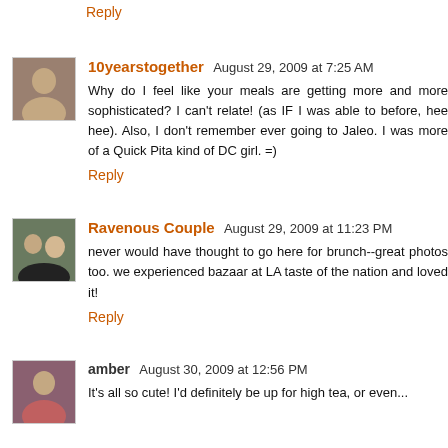Reply
10yearstogether  August 29, 2009 at 7:25 AM
Why do I feel like your meals are getting more and more sophisticated? I can't relate! (as IF I was able to before, hee hee). Also, I don't remember ever going to Jaleo. I was more of a Quick Pita kind of DC girl. =)
Reply
Ravenous Couple  August 29, 2009 at 11:23 PM
never would have thought to go here for brunch--great photos too. we experienced bazaar at LA taste of the nation and loved it!
Reply
amber  August 30, 2009 at 12:56 PM
It's all so cute! I'd definitely be up for high tea, or even...